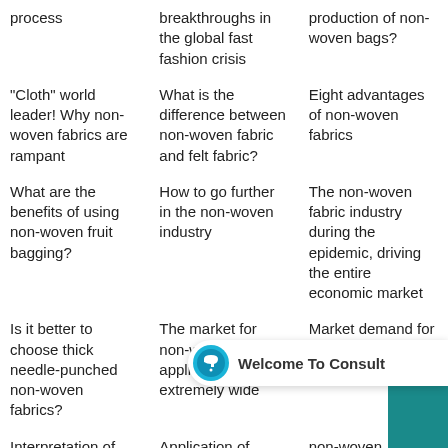process
breakthroughs in the global fast fashion crisis
production of non-woven bags?
"Cloth" world leader! Why non-woven fabrics are rampant
What is the difference between non-woven fabric and felt fabric?
Eight advantages of non-woven fabrics
What are the benefits of using non-woven fruit bagging?
How to go further in the non-woven industry
The non-woven fabric industry during the epidemic, driving the entire economic market
Is it better to choose thick needle-punched non-woven fabrics?
The market for non-woven applications is extremely wide
Market demand for medical non-woven dressings
Interpretation of the six main uses of non-woven fabrics
Application of technology in non-woven fabric industry
non-woven garment bag is in great demand
Research on the
Research on the
Why choose non-